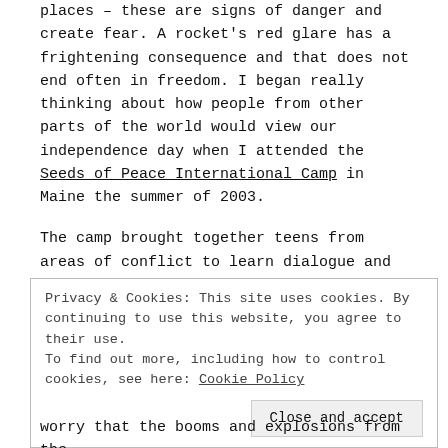places – these are signs of danger and create fear. A rocket's red glare has a frightening consequence and that does not end often in freedom. I began really thinking about how people from other parts of the world would view our independence day when I attended the Seeds of Peace International Camp in Maine the summer of 2003.
The camp brought together teens from areas of conflict to learn dialogue and conflict resolution and more importantly learn that
Privacy & Cookies: This site uses cookies. By continuing to use this website, you agree to their use. To find out more, including how to control cookies, see here: Cookie Policy
worry that the booms and explosions from the